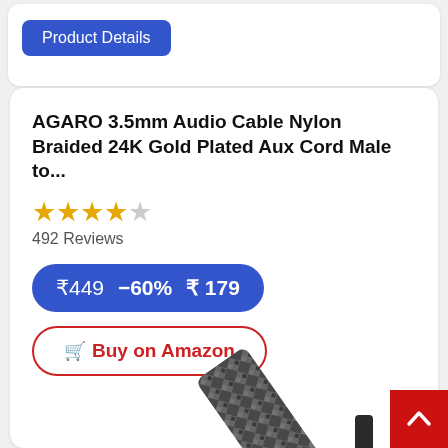Product Details
AGARO 3.5mm Audio Cable Nylon Braided 24K Gold Plated Aux Cord Male to...
492 Reviews
₹449  −60% ₹ 179
Buy on Amazon
[Figure (photo): Braided audio cable close-up showing black/grey woven nylon pattern]